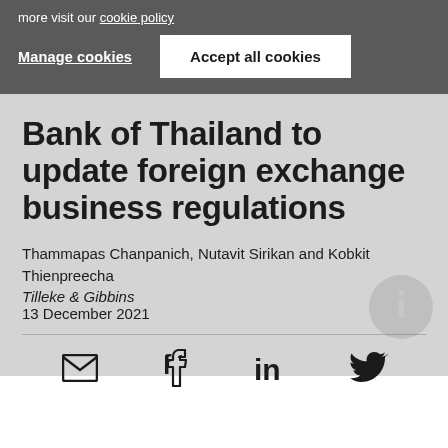more visit our cookie policy
Manage cookies
Accept all cookies
Bank of Thailand to update foreign exchange business regulations
Thammapas Chanpanich, Nutavit Sirikan and Kobkit Thienpreecha
Tilleke & Gibbins
13 December 2021
[Figure (other): Social media share icons: email, Facebook, LinkedIn, Twitter]